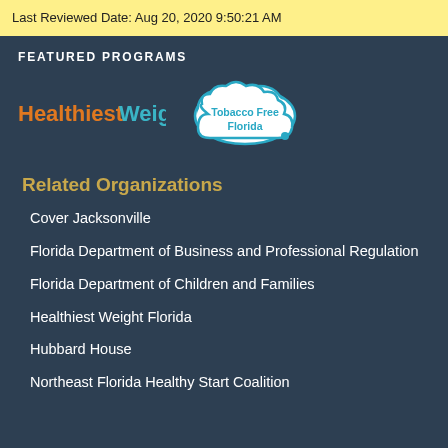Last Reviewed Date: Aug 20, 2020 9:50:21 AM
FEATURED PROGRAMS
[Figure (logo): Healthiest Weight logo in orange and teal text]
[Figure (logo): Tobacco Free Florida logo - cloud shape with teal border and text]
Related Organizations
Cover Jacksonville
Florida Department of Business and Professional Regulation
Florida Department of Children and Families
Healthiest Weight Florida
Hubbard House
Northeast Florida Healthy Start Coalition